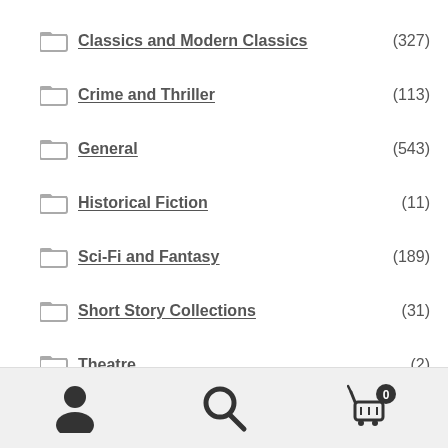Classics and Modern Classics (327)
Crime and Thriller (113)
General (543)
Historical Fiction (11)
Sci-Fi and Fantasy (189)
Short Story Collections (31)
Theatre (2)
Translated Fiction (86)
Young Adult (24)
Folio Books (44)
Gift Card (2)